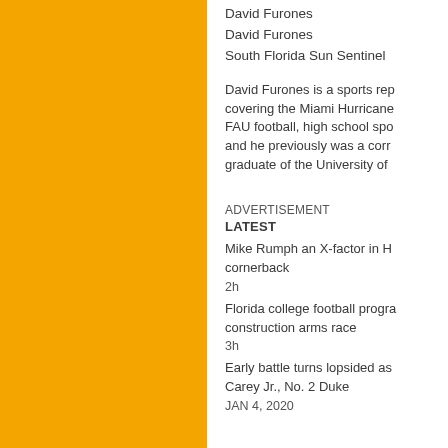David Furones
David Furones
South Florida Sun Sentinel
David Furones is a sports rep covering the Miami Hurricane FAU football, high school spo and he previously was a corr graduate of the University of
ADVERTISEMENT
LATEST
Mike Rumph an X-factor in H cornerback
2h
Florida college football progra construction arms race
3h
Early battle turns lopsided as Carey Jr., No. 2 Duke
JAN 4, 2020